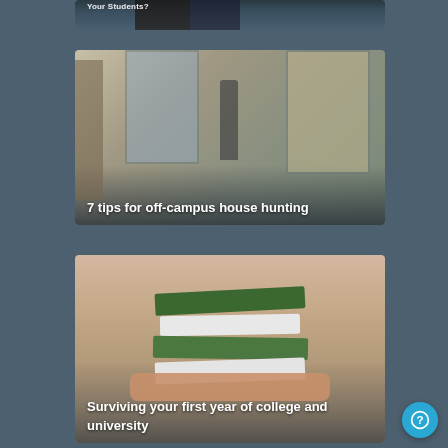[Figure (photo): Partially visible card at top — two people in dark clothing, partially cropped out of frame]
[Figure (photo): Interior apartment scene with a person standing near large windows, bookshelves, plants, and furniture. Title overlay reads '7 tips for off-campus house hunting'.]
7 tips for off-campus house hunting
[Figure (photo): Hands holding up a stack of textbooks on a table. Title overlay reads 'Surviving your first year of college and university'.]
Surviving your first year of college and university